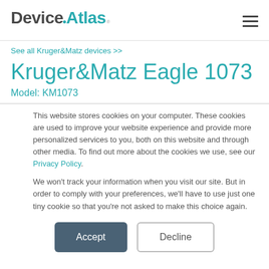DeviceAtlas
See all Kruger&Matz devices >>
Kruger&Matz Eagle 1073
Model: KM1073
This website stores cookies on your computer. These cookies are used to improve your website experience and provide more personalized services to you, both on this website and through other media. To find out more about the cookies we use, see our Privacy Policy.
We won't track your information when you visit our site. But in order to comply with your preferences, we'll have to use just one tiny cookie so that you're not asked to make this choice again.
Accept  Decline